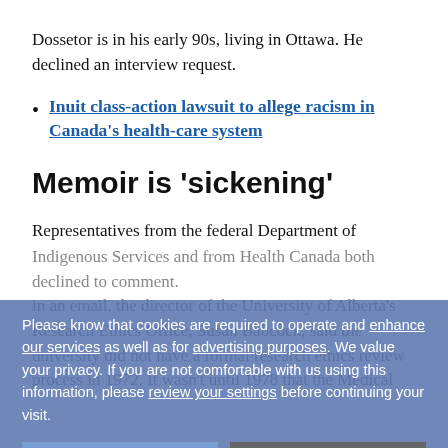Dossetor is in his early 90s, living in Ottawa. He declined an interview request.
Inuit class-action lawsuit to allege racism in Canada's health-care system
Memoir is 'sickening'
Representatives from the federal Department of Indigenous Services and from Health Canada both declined to comment.
In an email, the director of the University of Alberta's Research Ethics Office, Susan Babcock, said the university did not have a formal research ethics review process in 1972. It wasn't until 1978 that the Medical
Please know that cookies are required to operate and enhance our services as well as for advertising purposes. We value your privacy. If you are not comfortable with us using this information, please review your settings before continuing your visit.